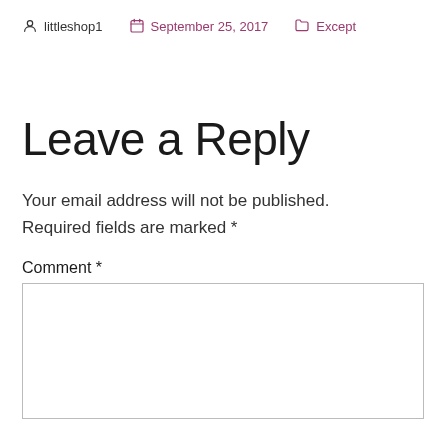littleshop1   September 25, 2017   Except
Leave a Reply
Your email address will not be published. Required fields are marked *
Comment *